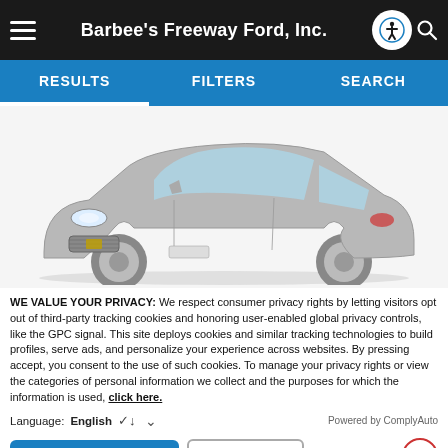Barbee's Freeway Ford, Inc.
[Figure (screenshot): Navigation tabs showing RESULTS, FILTERS, SEARCH on a blue background]
[Figure (photo): Silver Chevrolet Volt sedan photographed from a front three-quarter angle on a white background]
WE VALUE YOUR PRIVACY: We respect consumer privacy rights by letting visitors opt out of third-party tracking cookies and honoring user-enabled global privacy controls, like the GPC signal. This site deploys cookies and similar tracking technologies to build profiles, serve ads, and personalize your experience across websites. By pressing accept, you consent to the use of such cookies. To manage your privacy rights or view the categories of personal information we collect and the purposes for which the information is used, click here.
Language:  English   ∨   Powered by ComplyAuto
Accept and Continue →   Privacy Policy   ✕